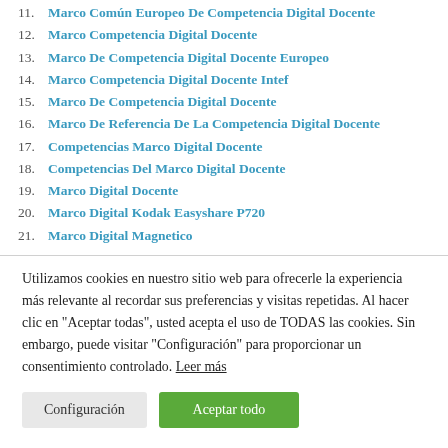11. Marco Común Europeo De Competencia Digital Docente
12. Marco Competencia Digital Docente
13. Marco De Competencia Digital Docente Europeo
14. Marco Competencia Digital Docente Intef
15. Marco De Competencia Digital Docente
16. Marco De Referencia De La Competencia Digital Docente
17. Competencias Marco Digital Docente
18. Competencias Del Marco Digital Docente
19. Marco Digital Docente
20. Marco Digital Kodak Easyshare P720
21. Marco Digital Magnetico
Utilizamos cookies en nuestro sitio web para ofrecerle la experiencia más relevante al recordar sus preferencias y visitas repetidas. Al hacer clic en "Aceptar todas", usted acepta el uso de TODAS las cookies. Sin embargo, puede visitar "Configuración" para proporcionar un consentimiento controlado. Leer más
Configuración | Aceptar todo